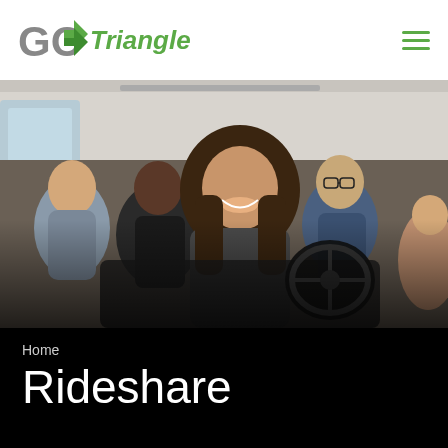GO Triangle
[Figure (photo): Interior of a van/rideshare vehicle with multiple passengers smiling and talking. A woman with long brown hair is prominently in the foreground smiling. Other passengers visible in background including a man on the left and another person with glasses.]
Home
Rideshare